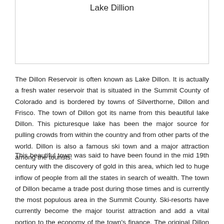Lake Dillion
The Dillon Reservoir is often known as Lake Dillon. It is actually a fresh water reservoir that is situated in the Summit County of Colorado and is bordered by towns of Silverthorne, Dillon and Frisco. The town of Dillon got its name from this beautiful lake Dillon. This picturesque lake has been the major source for pulling crowds from within the country and from other parts of the world. Dillon is also a famous ski town and a major attraction among the tourists.
This beautiful town was said to have been found in the mid 19th century with the discovery of gold in this area, which led to huge inflow of people from all the states in search of wealth. The town of Dillon became a trade post during those times and is currently the most populous area in the Summit County. Ski-resorts have currently become the major tourist attraction and add a vital portion to the economy of the town's finance. The original Dillon town was destroyed and a new one was constructed in its place. However, the original town can still be